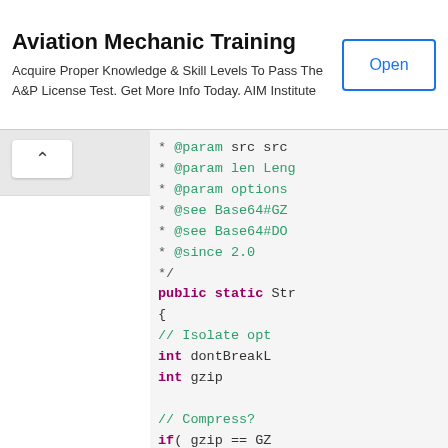[Figure (screenshot): Advertisement banner for Aviation Mechanic Training by AIM Institute with an Open button]
Aviation Mechanic Training - Acquire Proper Knowledge & Skill Levels To Pass The A&P License Test. Get More Info Today. AIM Institute
[Figure (screenshot): Left navigation panel with up-arrow chevron button and white content area below]
[Figure (screenshot): Code panel showing Java source code with Javadoc comments and method body including @param len, @param options, @see Base64#GZ, @see Base64#DO, @since 2.0, public static Str, int dontBreakL, int gzip, // Compress?, if( gzip == GZ, java.io.By, java.util., Base64.Out]